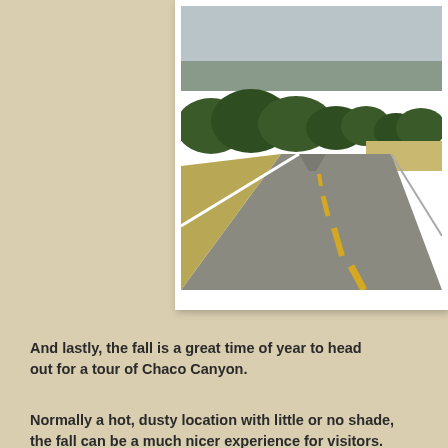[Figure (photo): A long straight road stretching to the horizon through high desert scrubland and juniper trees, with yellow dashed centerlines and white edge marking, under a hazy sky.]
And lastly, the fall is a great time of year to head out for a tour of Chaco Canyon.
Normally a hot, dusty location with little or no shade, visiting in the fall can be a much nicer experience for visitors.